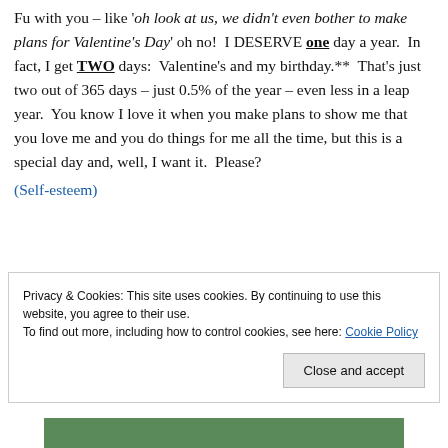Fu with you – like 'oh look at us, we didn't even bother to make plans for Valentine's Day' oh no!  I DESERVE one day a year.  In fact, I get TWO days:  Valentine's and my birthday.**  That's just two out of 365 days – just 0.5% of the year – even less in a leap year.  You know I love it when you make plans to show me that you love me and you do things for me all the time, but this is a special day and, well, I want it.  Please?
(Self-esteem)
Privacy & Cookies: This site uses cookies. By continuing to use this website, you agree to their use.
To find out more, including how to control cookies, see here: Cookie Policy
[Figure (photo): Partial photo visible at bottom of page, appears to show green outdoor scene]